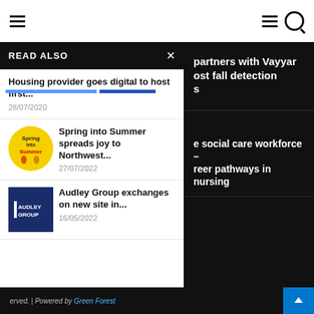Navigation bar with hamburger menus and search icon
READ ALSO
Housing provider goes digital to host first...
28/07/2020
[Figure (logo): Spring into Summer circular yellow logo with dancing figures]
Spring into Summer spreads joy to Northwest...
27/07/2022
[Figure (logo): Audley Group dark blue logo box with white text]
Audley Group exchanges on new site in...
16/05/2022
partners with Vayyar ost fall detection s
social care workforce – reer pathways in nursing
erved. | Powered by Green Forest